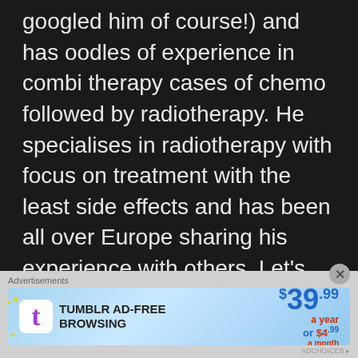googled him of course!) and has oodles of experience in combi therapy cases of chemo followed by radiotherapy. He specialises in radiotherapy with focus on treatment with the least side effects and has been all over Europe sharing his experience with others. Let's see how we get on, as I do like a bit of chemistry if I am honest lol. Watch this space. Am I gonna be 'on the radio' or not? After a few weeks on being behind the camera lens I am ready for anything.

Last week was a bumpy one for Nathan and I, of
[Figure (other): Tumblr Ad-Free Browsing advertisement banner. Shows Tumblr logo, text 'TUMBLR AD-FREE BROWSING', price $39.99 a year or $4.99 a month.]